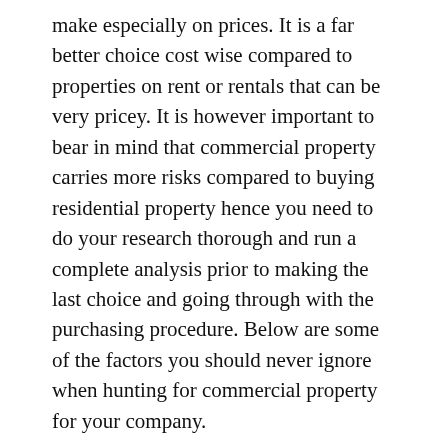make especially on prices. It is a far better choice cost wise compared to properties on rent or rentals that can be very pricey. It is however important to bear in mind that commercial property carries more risks compared to buying residential property hence you need to do your research thorough and run a complete analysis prior to making the last choice and going through with the purchasing procedure. Below are some of the factors you should never ignore when hunting for commercial property for your company.
This is very tricky because no one can predict what is going to happen in the future. The place that looks lucrative today might not be the same tomorrow and you want to tread very carefully for the sake of the business. Consider trends of past businesses in the exact same area even if you're targeting a new home. You also must evaluate the location with